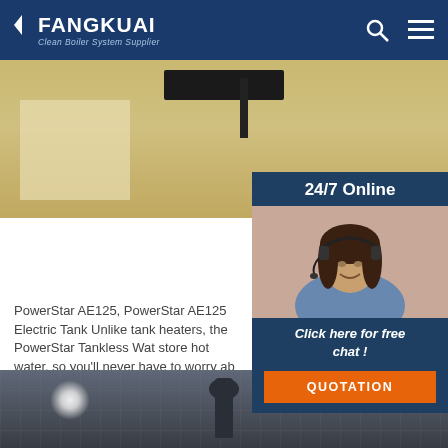FANGKUAI — Clean Boiler System Supplier
[Figure (photo): Hero banner image showing industrial boiler/heating equipment in a warm-toned interior setting]
[Figure (photo): 24/7 Online support panel with a female customer service agent wearing a headset, smiling]
24/7 Online
Click here for free chat !
QUOTATION
PowerStar AE125, PowerStar AE125 Electric Tank Unlike tank heaters, the PowerStar Tankless Wat store hot water, so you'll never have to worry ab sediment build up. The compact PowerStar elec heater hangs on the wall and is easy to install. S 3/4 inch hot and cold water ...
Get Price
[Figure (photo): Bottom strip showing industrial boiler or equipment in a dark/metallic setting with a figure in center]